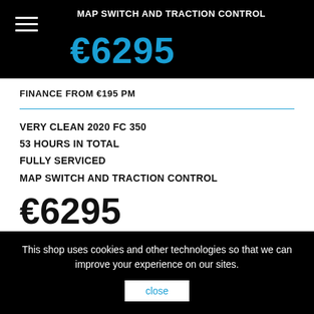MAP SWITCH AND TRACTION CONTROL
€6295
FINANCE FROM €195 PM
VERY CLEAN 2020 FC 350
53 HOURS IN TOTAL
FULLY SERVICED
MAP SWITCH AND TRACTION CONTROL
€6295
FINANCE FROM €195 PM
Reference   FC350M20
This shop uses cookies and other technologies so that we can improve your experience on our sites.